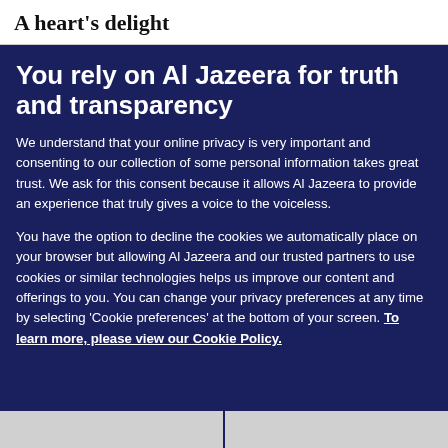A heart's delight
You rely on Al Jazeera for truth and transparency
We understand that your online privacy is very important and consenting to our collection of some personal information takes great trust. We ask for this consent because it allows Al Jazeera to provide an experience that truly gives a voice to the voiceless.
You have the option to decline the cookies we automatically place on your browser but allowing Al Jazeera and our trusted partners to use cookies or similar technologies helps us improve our content and offerings to you. You can change your privacy preferences at any time by selecting 'Cookie preferences' at the bottom of your screen. To learn more, please view our Cookie Policy.